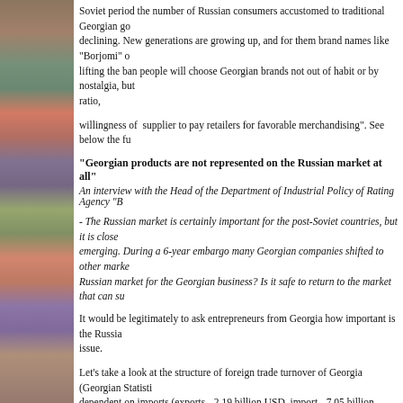Soviet period the number of Russian consumers accustomed to traditional Georgian goods is declining. New generations are growing up, and for them brand names like "Borjomi" are lifting the ban people will choose Georgian brands not out of habit or by nostalgia, but ratio,
willingness of supplier to pay retailers for favorable merchandising". See below the fu
"Georgian products are not represented on the Russian market at all"
An interview with the Head of the Department of Industrial Policy of Rating Agency "B
- The Russian market is certainly important for the post-Soviet countries, but it is close emerging. During a 6-year embargo many Georgian companies shifted to other markets. Russian market for the Georgian business? Is it safe to return to the market that can su
It would be legitimately to ask entrepreneurs from Georgia how important is the Russia issue.
Let's take a look at the structure of foreign trade turnover of Georgia (Georgian Statistics dependent on imports (exports - 2.19 billion USD, import - 7.05 billion USD, thus the the delivery of such traditional good of Georgian export as wine amounted to 54.1 mill Russia imposed an embargo, this figure was 81.3 million USD. That is, wine export ha was imposed. If you take in the natural calculus (i.e., deka-liters, not money), the ratio
Given these two complex of figures (many others can be also taken) return to the Russi business and whole economy.
However, as you rightly notice in your question, there is possibility that the efforts mad